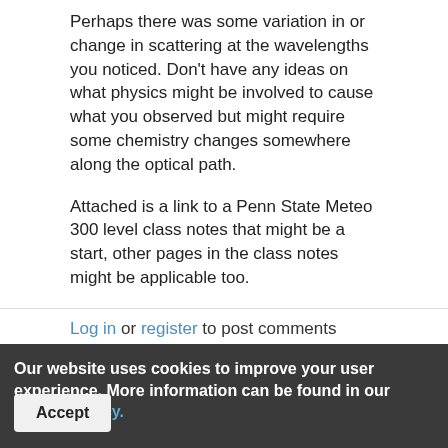Perhaps there was some variation in or change in scattering at the wavelengths you noticed.  Don't have any ideas on what physics might be involved to cause what you observed but might require some chemistry changes somewhere along the optical path.
Attached is a link to a Penn State Meteo 300 level class notes that might be a start, other pages in the class notes might be applicable too.
https://www.e-education.psu.edu/meteo300/node/785
Best regards,
Jim DeYoung (DEY)
Log in or register to post comments
Our website uses cookies to improve your user experience. More information can be found in our privacy policy.
Accept